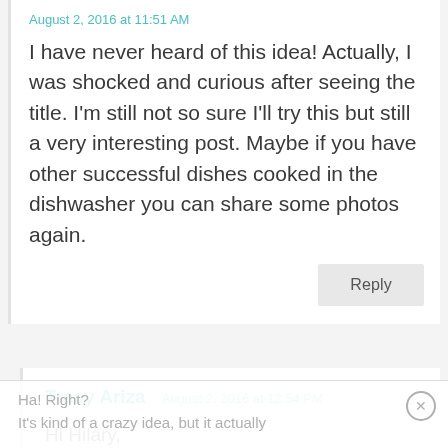August 2, 2016 at 11:51 AM
I have never heard of this idea! Actually, I was shocked and curious after seeing the title. I'm still not so sure I'll try this but still a very interesting post. Maybe if you have other successful dishes cooked in the dishwasher you can share some photos again.
Reply
Tracy Ariza
August 2, 2016 at 12:54 PM
Hi Hilary,
Ha! Right?
It's kind of a crazy idea, but it actually